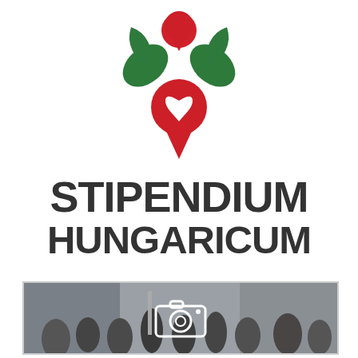[Figure (logo): Stipendium Hungaricum logo: green leaves and red location pin with white heart]
STIPENDIUM HUNGARICUM
[Figure (photo): Photo of a formal event/ceremony with people in suits gathered in a hall with flags and a screen, overlaid with a white camera icon]